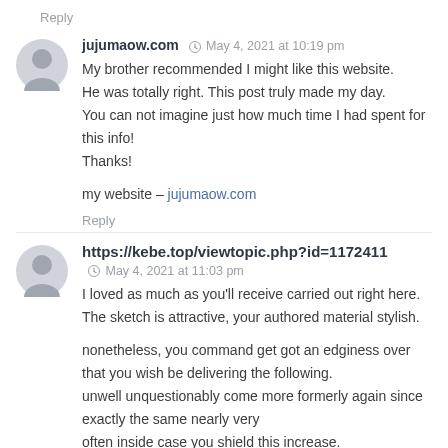Reply
jujumaow.com  May 4, 2021 at 10:19 pm
My brother recommended I might like this website.
He was totally right. This post truly made my day.
You can not imagine just how much time I had spent for this info!
Thanks!

my website – jujumaow.com
Reply
https://kebe.top/viewtopic.php?id=1172411  May 4, 2021 at 11:03 pm
I loved as much as you'll receive carried out right here. The sketch is attractive, your authored material stylish.

nonetheless, you command get got an edginess over that you wish be delivering the following.
unwell unquestionably come more formerly again since exactly the same nearly very
often inside case you shield this increase.

Also visit my blog https://kebe.top/viewtopic.php?